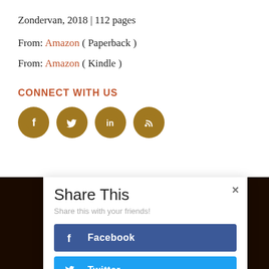Zondervan, 2018 | 112 pages
From: Amazon ( Paperback )
From: Amazon ( Kindle )
CONNECT WITH US
[Figure (infographic): Four golden circular social media icons: Facebook, Twitter, LinkedIn, RSS]
[Figure (screenshot): Share This modal dialog with Facebook and Twitter share buttons. Subtitle: Share this with your friends!]